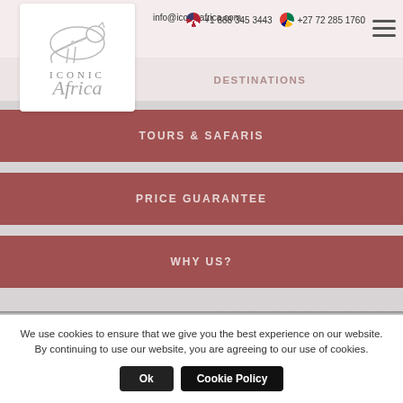[Figure (logo): Iconic Africa logo with stylized cheetah silhouette and brand name]
info@iconicafrica.com
+1 888 345 3443  +27 72 285 1760
[Figure (screenshot): Hamburger menu icon (three horizontal lines)]
DESTINATIONS
TOURS & SAFARIS
PRICE GUARANTEE
WHY US?
We use cookies to ensure that we give you the best experience on our website. By continuing to use our website, you are agreeing to our use of cookies.
Ok   Cookie Policy